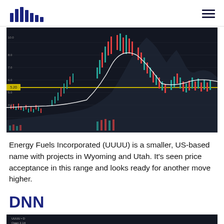[Figure (continuous-plot): Stock price candlestick chart for UUUU (Energy Fuels Incorporated) on a dark background, showing a horizontal yellow support/resistance line, white moving average curve, candlestick price action with red/cyan colors, and volume bars at bottom. Price rose sharply then peaked before pulling back near the yellow line.]
Energy Fuels Incorporated (UUUU) is a smaller, US-based name with projects in Wyoming and Utah. It’s seen price acceptance in this range and looks ready for another move higher.
DNN
[Figure (continuous-plot): Stock price candlestick chart for DNN on a dark background, partially visible at the bottom of the page.]